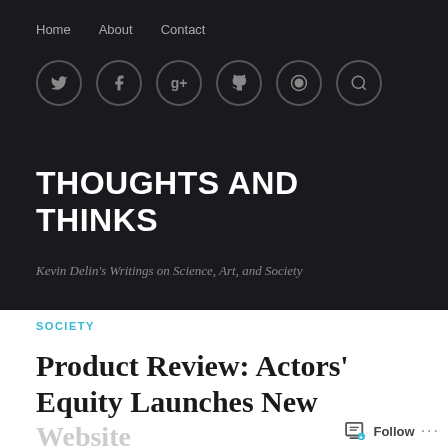Home   About   Contact
THOUGHTS AND THINKS
Kevin Delin's Writings on Science, Art, and Society
SOCIETY
Product Review: Actors' Equity Launches New Website
Follow ...